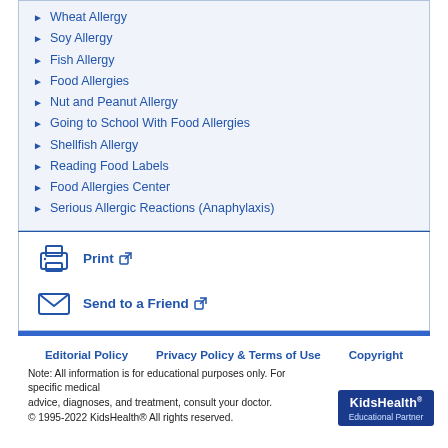Wheat Allergy
Soy Allergy
Fish Allergy
Food Allergies
Nut and Peanut Allergy
Going to School With Food Allergies
Shellfish Allergy
Reading Food Labels
Food Allergies Center
Serious Allergic Reactions (Anaphylaxis)
Print
Send to a Friend
Editorial Policy   Privacy Policy & Terms of Use   Copyright
Note: All information is for educational purposes only. For specific medical advice, diagnoses, and treatment, consult your doctor.
© 1995-2022 KidsHealth® All rights reserved.